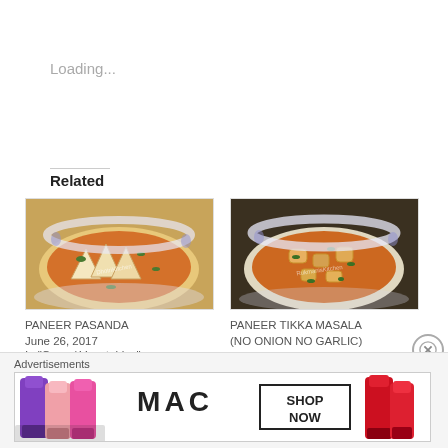Loading...
Related
[Figure (photo): Bowl of Paneer Pasanda curry with triangular pieces in orange sauce]
PANEER PASANDA
June 26, 2017
In "Curry / Vegetables"
[Figure (photo): Bowl of Paneer Tikka Masala curry in orange sauce]
PANEER TIKKA MASALA (NO ONION NO GARLIC)
October 5, 2016
In "Curry / Vegetables"
Advertisements